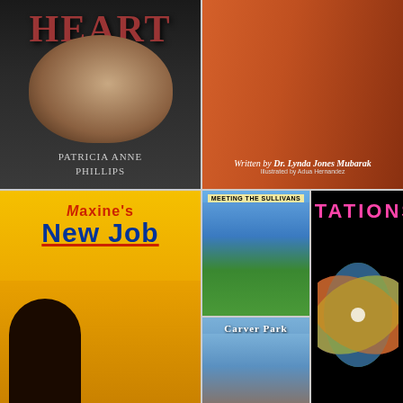[Figure (photo): Book cover: Heart by Patricia Anne Phillips - dark background with sleeping baby]
[Figure (illustration): Book cover: children's book illustrated by Dr. Lynda Jones Mubarak, illustrated by Adua Hernandez - girl with glasses thinking]
[Figure (illustration): Book cover: Maxine's New Job by Dr. Lynda Jones Mubarak, illustrated by Adua Hernandez]
[Figure (illustration): Book cover: Meeting the Sullivans by Dr. Lynda Jones Mubarak]
[Figure (illustration): Book cover: Carver Park by Dr. Lynda Jones Mubarak]
[Figure (illustration): Book cover: Stations by Lynda Mubarak - colorful swirl design]
[Figure (illustration): Book cover: LongTales for ShortTails - FastJack Robinson - LongTale #1]
[Figure (illustration): Book cover: LongTales for ShortTails - Ms. Missy - Neinan's Pitbull Dog - LongTale #2]
[Figure (illustration): Book cover: LongTales for ShortTails - Duncan & The Chocolate Bar - LongTale #3]
[Figure (photo): Book cover: Lutishia Lovely - rings and jewelry photo]